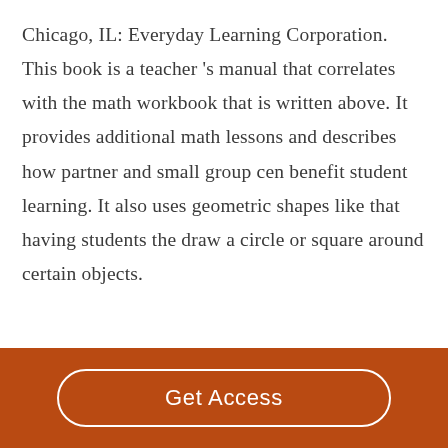Chicago, IL: Everyday Learning Corporation. This book is a teacher 's manual that correlates with the math workbook that is written above. It provides additional math lessons and describes how partner and small group cen benefit student learning. It also uses geometric shapes like that having students the draw a circle or square around certain objects.
Get Access